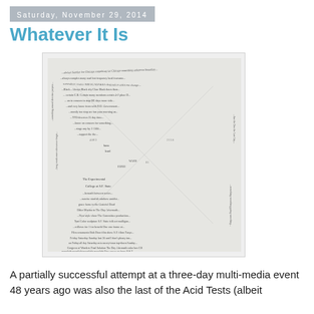Saturday, November 29, 2014
Whatever It Is
[Figure (photo): A dense handwritten document or artwork covered in cursive text and diagrams arranged in a square format, with text running in multiple directions and X-shaped diagonal lines crossing through the center. The text includes phrases like 'The Experimental College at S.F. State', 'the Grateful Dead', 'The Day Aftermath', 'moonlight moonlight moonlight moonlight How can we go home B&T'. The document appears to be a hand-drawn event listing or flyer with small symbols and numbers scattered throughout.]
A partially successful attempt at a three-day multi-media event 48 years ago was also the last of the Acid Tests (albeit